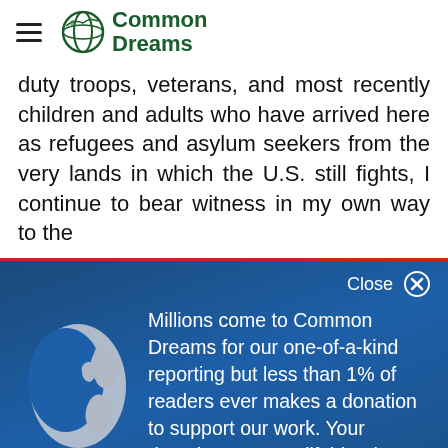Common Dreams
duty troops, veterans, and most recently children and adults who have arrived here as refugees and asylum seekers from the very lands in which the U.S. still fights, I continue to bear witness in my own way to the
Close
[Figure (illustration): White/grey globe icon on blue background showing Americas]
Millions come to Common Dreams for our one-of-a-kind reporting but less than 1% of readers ever makes a donation to support our work. Your donations are our lifeblood.
DONATE NOW